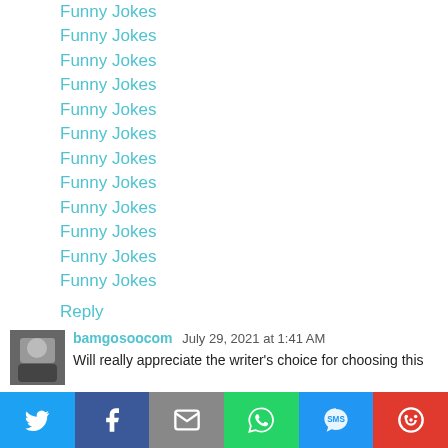Funny Jokes
Funny Jokes
Funny Jokes
Funny Jokes
Funny Jokes
Funny Jokes
Funny Jokes
Funny Jokes
Funny Jokes
Funny Jokes
Funny Jokes
Funny Jokes
Reply
bamgosoocom  July 29, 2021 at 1:41 AM
Will really appreciate the writer's choice for choosing this
Twitter | Facebook | Email | WhatsApp | SMS | More